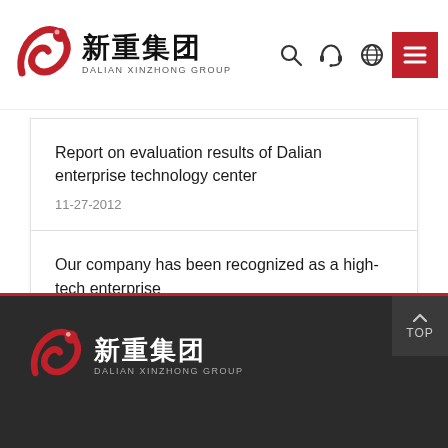新重集团 DALIAN XINZHONG GROUP
Report on evaluation results of Dalian enterprise technology center
11-27-2012
Our company has been recognized as a high-tech enterprise
07-08-2013
新重集团 DALIAN XINZHONG GROUP